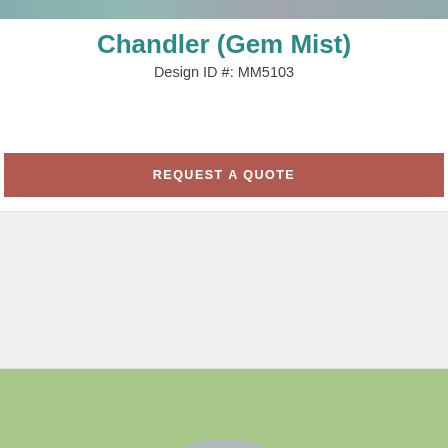[Figure (photo): Partial top of memorial/headstone product card showing top portion of an image (Chandler Gem Mist design)]
Chandler (Gem Mist)
Design ID #: MM5103
REQUEST A QUOTE
[Figure (photo): Photo of Allen family round/circle headstone monument (Nero granite) in cemetery setting with green grass background. The stone shows 'Allen' in script, with Alden E. and Dolores L. names and dates.]
Allen Fr. (Nero)
Design ID #: MM5104
REQUEST A QUOTE